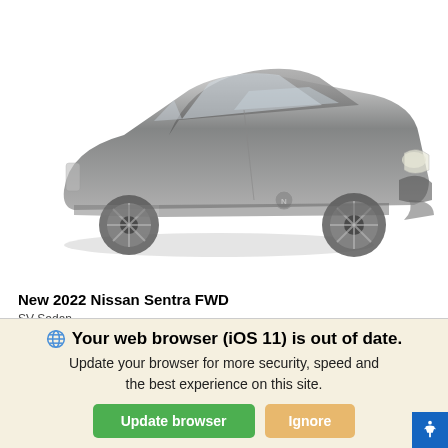[Figure (photo): A dark gray Nissan Sentra sedan shown at a slight angle, displayed on white/light gray background. The car faces left-center.]
New 2022 Nissan Sentra FWD
SV Sedan
| MSRP |
| --- |
| $22,885 |
Your web browser (iOS 11) is out of date. Update your browser for more security, speed and the best experience on this site.